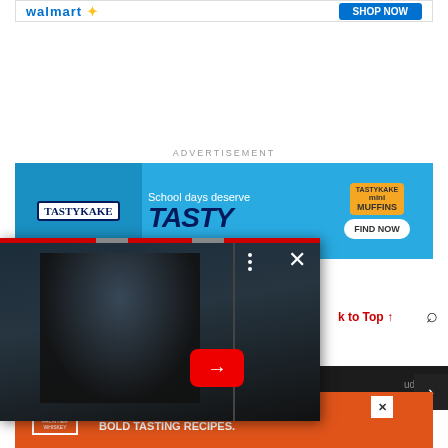[Figure (screenshot): Walmart advertisement banner at top of page with blue Walmart logo and yellow spark]
ADVERTISEMENT
[Figure (screenshot): Tastykake advertisement banner: blue background, TASTYKAKE logo, 'School days deserve TASTY' text, mini muffins image, FIND NOW button]
[Figure (screenshot): Video overlay showing a dark warrior/Dragonborn figure from Skyrim, with red progress bar at top, three-dot menu, X close button, and red play/next arrow button]
Back to Top ↑
[Figure (screenshot): Social media icons: YouTube, Facebook, Twitter]
Copyright
pudding
[Figure (screenshot): Bulleit Bourbon advertisement: orange background, BULLEIT logo, 'HIGH RYE BOURBON. BOLD TASTING RECIPES.' text, food/drink image on right, X close button]